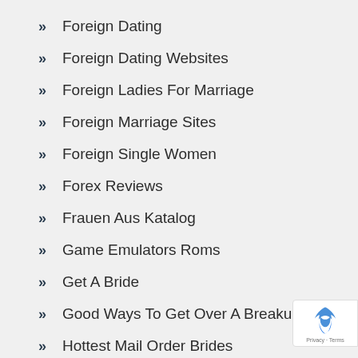Foreign Dating
Foreign Dating Websites
Foreign Ladies For Marriage
Foreign Marriage Sites
Foreign Single Women
Forex Reviews
Frauen Aus Katalog
Game Emulators Roms
Get A Bride
Good Ways To Get Over A Breakup
Hottest Mail Order Brides